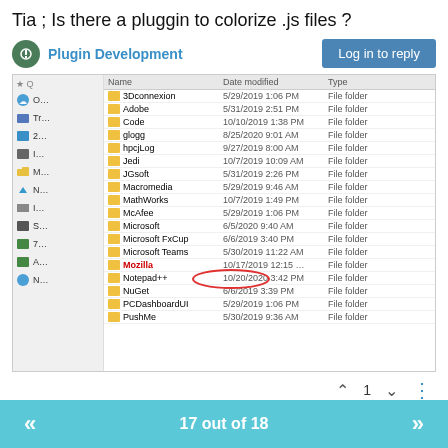Tia ; Is there a pluggin to colorize .js files ?
Plugin Development
[Figure (screenshot): Windows File Explorer showing AppData/Roaming folder contents with folders including 3Dconnexion, Adobe, Code, glogg, hpcjLog, Jedi, JGsoft, Macromedia, MathWorks, McAfee, Microsoft, Microsoft FxCop, Microsoft Teams, Mozilla, Notepad++ (circled in red), NuGet, PCDashboardUI, PushMe. Notepad++ folder is highlighted/annotated with a red circle.]
1
Peter Jones
Nov 1, 2020 6:01 PM
17 out of 18